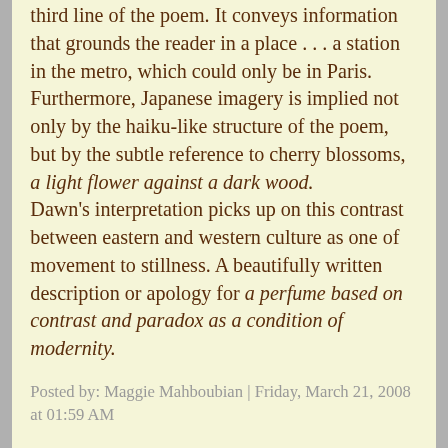third line of the poem. It conveys information that grounds the reader in a place . . . a station in the metro, which could only be in Paris. Furthermore, Japanese imagery is implied not only by the haiku-like structure of the poem, but by the subtle reference to cherry blossoms, a light flower against a dark wood. Dawn's interpretation picks up on this contrast between eastern and western culture as one of movement to stillness. A beautifully written description or apology for a perfume based on contrast and paradox as a condition of modernity.
Posted by: Maggie Mahboubian | Friday, March 21, 2008 at 01:59 AM
Dawn, i love how freely synesthetic your